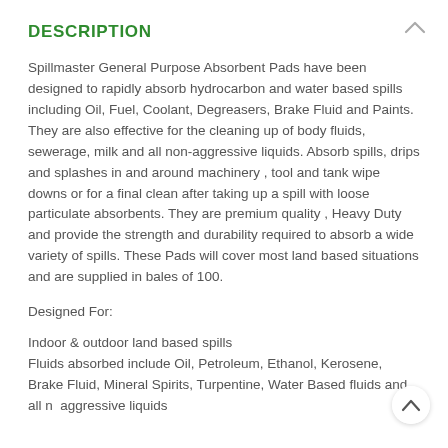DESCRIPTION
Spillmaster General Purpose Absorbent Pads have been designed to rapidly absorb hydrocarbon and water based spills including Oil, Fuel, Coolant, Degreasers, Brake Fluid and Paints. They are also effective for the cleaning up of body fluids, sewerage, milk and all non-aggressive liquids. Absorb spills, drips and splashes in and around machinery , tool and tank wipe downs or for a final clean after taking up a spill with loose particulate absorbents. They are premium quality , Heavy Duty and provide the strength and durability required to absorb a wide variety of spills. These Pads will cover most land based situations and are supplied in bales of 100.
Designed For:
Indoor & outdoor land based spills
Fluids absorbed include Oil, Petroleum, Ethanol, Kerosene, Brake Fluid, Mineral Spirits, Turpentine, Water Based fluids and all non-aggressive liquids